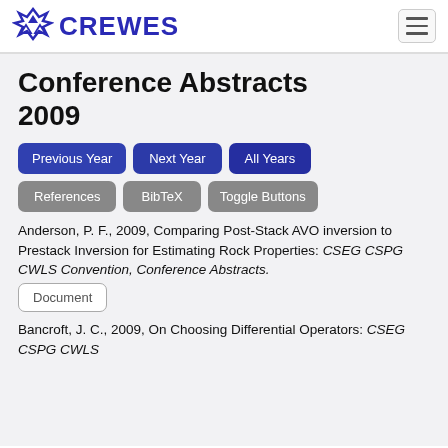CREWES
Conference Abstracts 2009
Previous Year
Next Year
All Years
References
BibTeX
Toggle Buttons
Anderson, P. F., 2009, Comparing Post-Stack AVO inversion to Prestack Inversion for Estimating Rock Properties: CSEG CSPG CWLS Convention, Conference Abstracts.
Document
Bancroft, J. C., 2009, On Choosing Differential Operators: CSEG CSPG CWLS